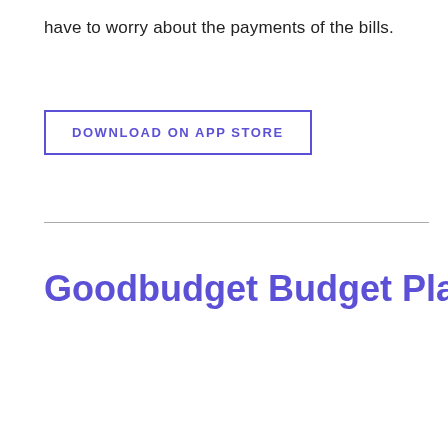have to worry about the payments of the bills.
DOWNLOAD ON APP STORE
Goodbudget Budget Planner